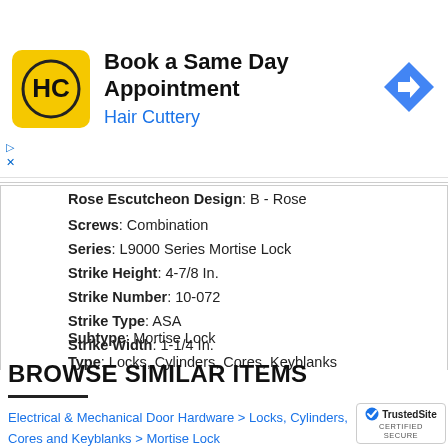[Figure (other): Hair Cuttery advertisement banner with yellow logo, 'Book a Same Day Appointment' headline, and blue navigation arrow icon]
Rose Escutcheon Design: B - Rose
Screws: Combination
Series: L9000 Series Mortise Lock
Strike Height: 4-7/8 In.
Strike Number: 10-072
Strike Type: ASA
Strike Width: 1-1/4 In.
Subtype: Mortise Lock
Type: Locks, Cylinders, Cores, Keyblanks
BROWSE SIMILAR ITEMS
Electrical & Mechanical Door Hardware > Locks, Cylinders, Cores and Keyblanks > Mortise Lock